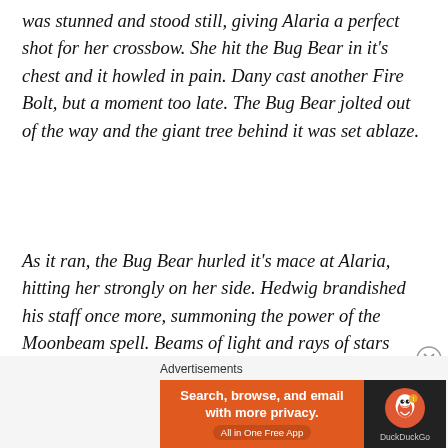was stunned and stood still, giving Alaria a perfect shot for her crossbow. She hit the Bug Bear in it's chest and it howled in pain. Dany cast another Fire Bolt, but a moment too late. The Bug Bear jolted out of the way and the giant tree behind it was set ablaze.
As it ran, the Bug Bear hurled it's mace at Alaria, hitting her strongly on her side. Hedwig brandished his staff once more, summoning the power of the Moonbeam spell. Beams of light and rays of stars engulfed the Bug Bear with ghostly flames and it's body fell in a crumpled heap on the grassy grounds.
Advertisements
[Figure (infographic): DuckDuckGo advertisement banner: orange left panel with text 'Search, browse, and email with more privacy. All in One Free App' and dark right panel with DuckDuckGo logo and brand name.]